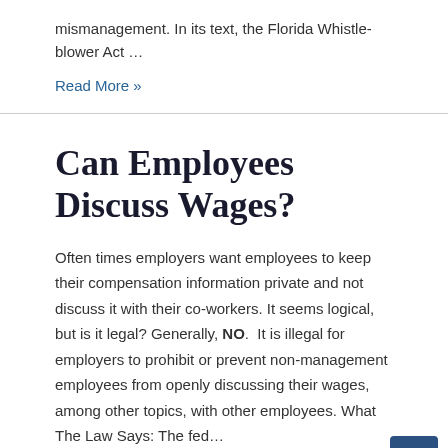mismanagement. In its text, the Florida Whistle-blower Act …
Read More »
Can Employees Discuss Wages?
Often times employers want employees to keep their compensation information private and not discuss it with their co-workers. It seems logical, but is it legal? Generally, NO.  It is illegal for employers to prohibit or prevent non-management employees from openly discussing their wages, among other topics, with other employees. What The Law Says: The fed… …